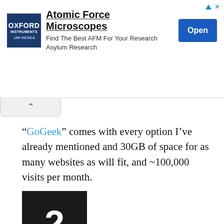[Figure (other): Advertisement banner for Oxford Instruments Asylum Research Atomic Force Microscopes with logo, text, and Open button]
“GoGeek” comes with every option I’ve already mentioned and 30GB of space for as many websites as will fit, and ~100,000 visits per month.
[Figure (other): Black square badge with white number 2]
Choose the hosting package that’s right for you by clicking “get started”. On the second step, select “I